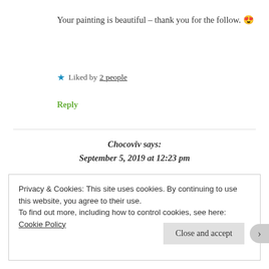Your painting is beautiful – thank you for the follow. 😍
★ Liked by 2 people
Reply
Chocoviv says: September 5, 2019 at 12:23 pm
Privacy & Cookies: This site uses cookies. By continuing to use this website, you agree to their use.
To find out more, including how to control cookies, see here: Cookie Policy
Close and accept